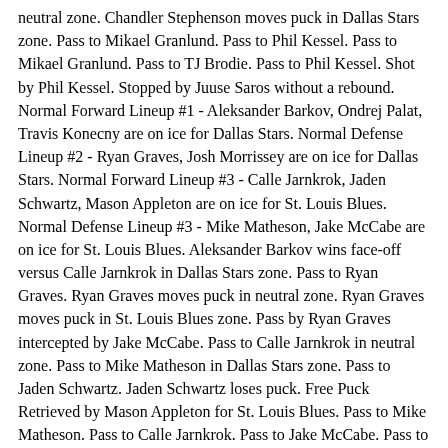neutral zone. Chandler Stephenson moves puck in Dallas Stars zone. Pass to Mikael Granlund. Pass to Phil Kessel. Pass to Mikael Granlund. Pass to TJ Brodie. Pass to Phil Kessel. Shot by Phil Kessel. Stopped by Juuse Saros without a rebound. Normal Forward Lineup #1 - Aleksander Barkov, Ondrej Palat, Travis Konecny are on ice for Dallas Stars. Normal Defense Lineup #2 - Ryan Graves, Josh Morrissey are on ice for Dallas Stars. Normal Forward Lineup #3 - Calle Jarnkrok, Jaden Schwartz, Mason Appleton are on ice for St. Louis Blues. Normal Defense Lineup #3 - Mike Matheson, Jake McCabe are on ice for St. Louis Blues. Aleksander Barkov wins face-off versus Calle Jarnkrok in Dallas Stars zone. Pass to Ryan Graves. Ryan Graves moves puck in neutral zone. Ryan Graves moves puck in St. Louis Blues zone. Pass by Ryan Graves intercepted by Jake McCabe. Pass to Calle Jarnkrok in neutral zone. Pass to Mike Matheson in Dallas Stars zone. Pass to Jaden Schwartz. Jaden Schwartz loses puck. Free Puck Retrieved by Mason Appleton for St. Louis Blues. Pass to Mike Matheson. Pass to Calle Jarnkrok. Pass to Jake McCabe. Pass to Jaden Schwartz.
Time : 5. Shot by Jaden Schwartz. Stopped by Juuse Saros with a rebound. Free Puck Retrieved by Jake McCabe for St. Louis Blues. Pass to Mike Matheson. Minor Penalty to Josh Morrissey for Hooking. Penalty Kill Forward Lineup #1 - Andrew Copp, Ondrej Palat are on ice for Dallas Stars. Penalty Kill Defense Lineup #2 -